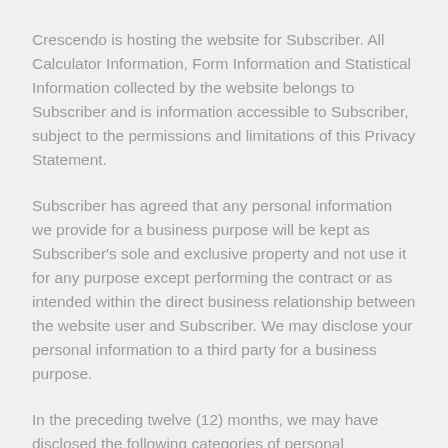Crescendo is hosting the website for Subscriber. All Calculator Information, Form Information and Statistical Information collected by the website belongs to Subscriber and is information accessible to Subscriber, subject to the permissions and limitations of this Privacy Statement.
Subscriber has agreed that any personal information we provide for a business purpose will be kept as Subscriber's sole and exclusive property and not use it for any purpose except performing the contract or as intended within the direct business relationship between the website user and Subscriber. We may disclose your personal information to a third party for a business purpose.
In the preceding twelve (12) months, we may have disclosed the following categories of personal information for a business purpose: